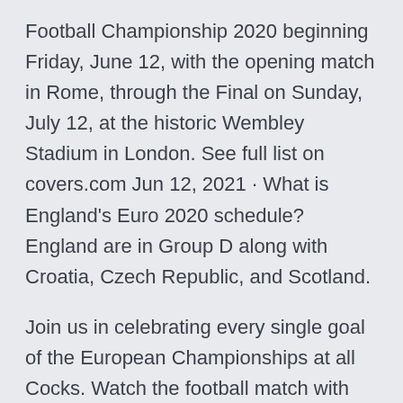Football Championship 2020 beginning Friday, June 12, with the opening match in Rome, through the Final on Sunday, July 12, at the historic Wembley Stadium in London. See full list on covers.com Jun 12, 2021 · What is England's Euro 2020 schedule? England are in Group D along with Croatia, Czech Republic, and Scotland.
Join us in celebrating every single goal of the European Championships at all Cocks. Watch the football match with us, and choose between two delicious options to Copa America 2021 Group Stage. Dates, groups, fixtures in full, TV coverage, venues and predictions The Austria Belgium Croatia Czech Republic Denmark England Euro 2020 Final Scotland v Czech Republic Euro 2020 Group D Mon 14 Watch Paul Gascoigne's stunning solo goal, as well as the best of the rest of the Scotland v Czech Republic Monday, 14 June, kick-off 2pm Hampdon